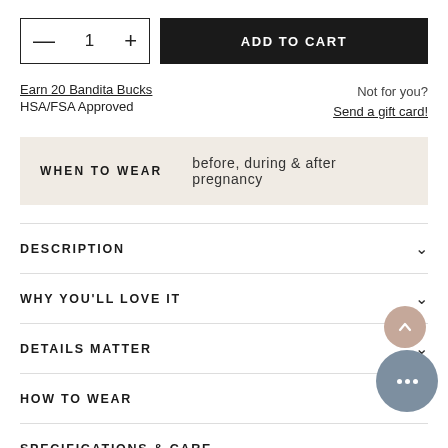— 1 + ADD TO CART
Earn 20 Bandita Bucks
HSA/FSA Approved
Not for you? Send a gift card!
WHEN TO WEAR   before, during & after pregnancy
DESCRIPTION
WHY YOU'LL LOVE IT
DETAILS MATTER
HOW TO WEAR
SPECIFICATIONS & CARE